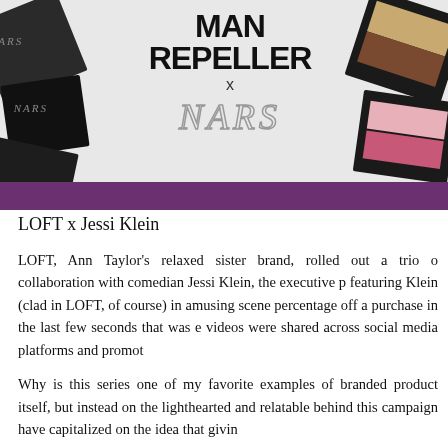[Figure (photo): Banner image showing Man Repeller x NARS collaboration with makeup products (dark compacts and eyeshadow palettes) arranged around the 'MAN REPELLER x NARS' logo text on a light background with a purple bar at the bottom.]
LOFT x Jessi Klein
LOFT, Ann Taylor's relaxed sister brand, rolled out a trio of collaboration with comedian Jessi Klein, the executive p featuring Klein (clad in LOFT, of course) in amusing scene percentage off a purchase in the last few seconds that was e videos were shared across social media platforms and promot
Why is this series one of my favorite examples of branded product itself, but instead on the lighthearted and relatable behind this campaign have capitalized on the idea that givin